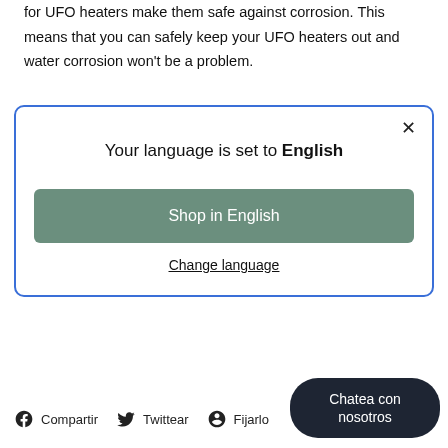for UFO heaters make them safe against corrosion. This means that you can safely keep your UFO heaters out and water corrosion won't be a problem.
[Figure (screenshot): Modal dialog with blue border. Title: 'Your language is set to English'. A green button 'Shop in English'. A text link 'Change language'. Close X button in top right.]
Compatir   Twittear   Fijarlo
Chatea con nosotros